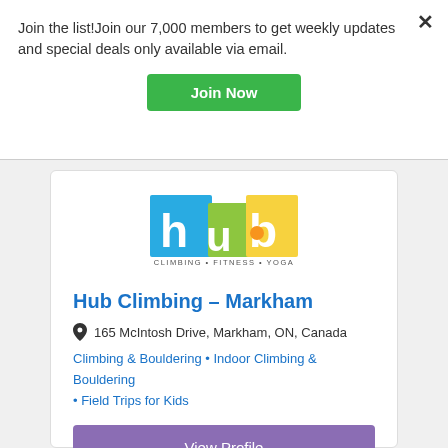Join the list!Join our 7,000 members to get weekly updates and special deals only available via email.
Join Now
[Figure (logo): Hub Climbing Fitness Yoga logo with colorful letter blocks]
Hub Climbing – Markham
165 McIntosh Drive, Markham, ON, Canada
Climbing & Bouldering • Indoor Climbing & Bouldering • Field Trips for Kids
View Profile